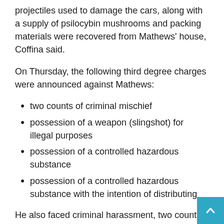projectiles used to damage the cars, along with a supply of psilocybin mushrooms and packing materials were recovered from Mathews' house, Coffina said.
On Thursday, the following third degree charges were announced against Mathews:
two counts of criminal mischief
possession of a weapon (slingshot) for illegal purposes
possession of a controlled hazardous substance
possession of a controlled hazardous substance with the intention of distributing
He also faced criminal harassment, two counts of some people for not having weapons and possession of drug paraphernalia – a disorderly persons offense.
The Mount Laurel Police Chief said it was a great example of the impact community members can have by sharing tips on criminal activity.